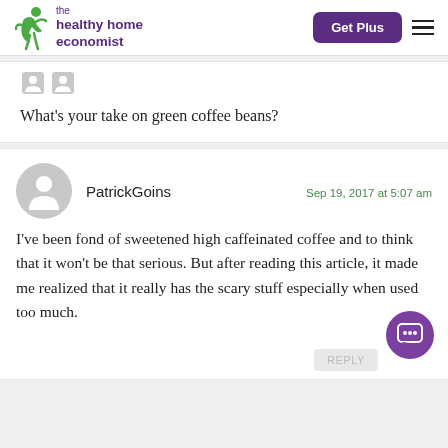the healthy home economist — Get Plus nav
What's your take on green coffee beans?
PatrickGoins — Sep 19, 2017 at 5:07 am
I've been fond of sweetened high caffeinated coffee and to think that it won't be that serious. But after reading this article, it made me realized that it really has the scary stuff especially when used too much.